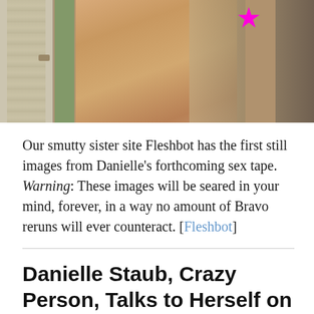[Figure (photo): A photograph of a person viewed from behind, partially unclothed, with a pink star graphic overlaid. The background shows a door, green fabric/scarf, and floral wallpaper.]
Our smutty sister site Fleshbot has the first still images from Danielle's forthcoming sex tape. Warning: These images will be seared in your mind, forever, in a way no amount of Bravo reruns will ever counteract. [Fleshbot]
Danielle Staub, Crazy Person, Talks to Herself on The Real